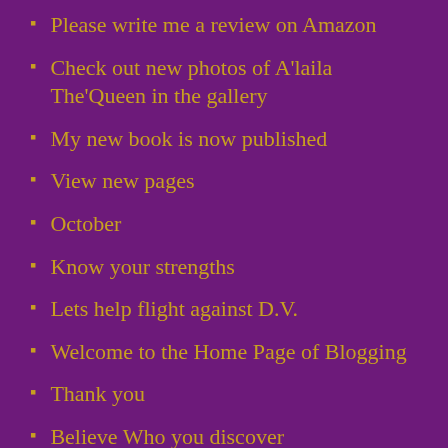Please write me a review on Amazon
Check out new photos of A'laila The'Queen in the gallery
My new book is now published
View new pages
October
Know your strengths
Lets help flight against D.V.
Welcome to the Home Page of Blogging
Thank you
Believe Who you discover